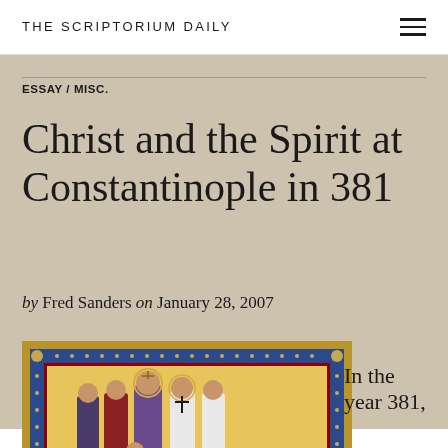THE SCRIPTORIUM DAILY
ESSAY / MISC.
Christ and the Spirit at Constantinople in 381
by Fred Sanders on January 28, 2007
[Figure (photo): Medieval illuminated manuscript depicting Christ enthroned flanked by saints and church figures with ornate decorative border]
In the year 381,